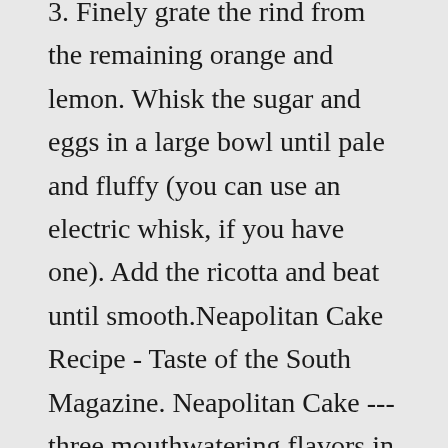3. Finely grate the rind from the remaining orange and lemon. Whisk the sugar and eggs in a large bowl until pale and fluffy (you can use an electric whisk, if you have one). Add the ricotta and beat until smooth.Neapolitan Cake Recipe - Taste of the South Magazine. Neapolitan Cake --- three mouthwatering flavors in one scrumptious Ever wonder how bakeries make those striped Italian cookies?